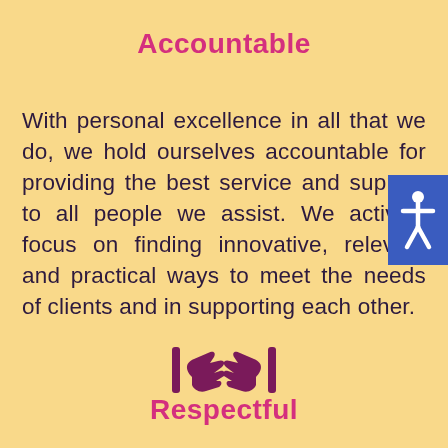Accountable
With personal excellence in all that we do, we hold ourselves accountable for providing the best service and support to all people we assist. We actively focus on finding innovative, relevant and practical ways to meet the needs of clients and in supporting each other.
[Figure (illustration): Handshake icon in dark purple/maroon color, representing partnership and support, with vertical bar decorations on each side]
Respectful